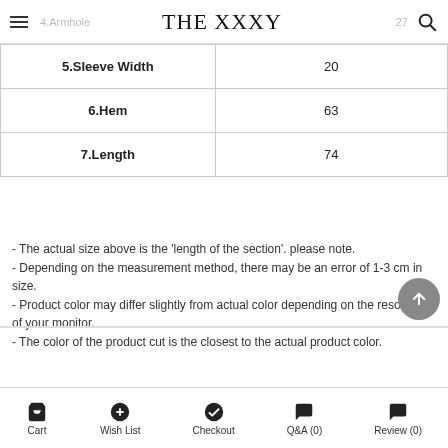THE XXXY
| 5.Sleeve Width | 20 |
| 6.Hem | 63 |
| 7.Length | 74 |
- The actual size above is the 'length of the section'. please note.
- Depending on the measurement method, there may be an error of 1-3 cm in size.
- Product color may differ slightly from actual color depending on the resolution of your monitor.
- The color of the product cut is the closest to the actual product color.
material information
Cart  Wish List  Checkout  Q&A (0)  Review (0)